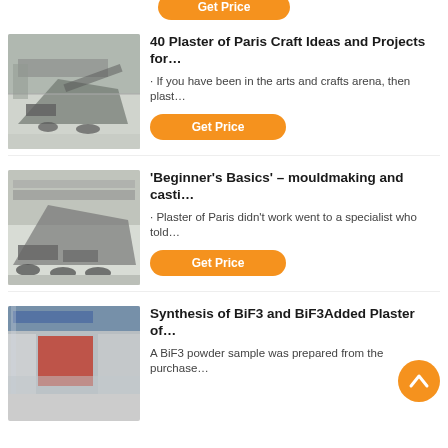[Figure (photo): Industrial mobile crushing/screening machine in a large factory hall]
40 Plaster of Paris Craft Ideas and Projects for…
· If you have been in the arts and crafts arena, then plast…
Get Price
[Figure (photo): Large industrial machine on wheels in a factory building]
'Beginner's Basics' – mouldmaking and casti…
· Plaster of Paris didn't work went to a specialist who told…
Get Price
[Figure (photo): Industrial factory interior with blue banner signage and red curtain machinery]
Synthesis of BiF3 and BiF3Added Plaster of…
A BiF3 powder sample was prepared from the purchase…